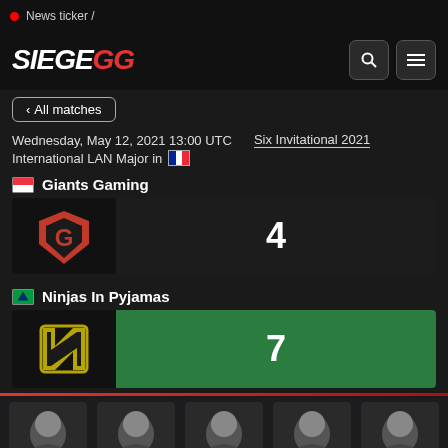News ticker /
[Figure (logo): SiegeGG logo with search and menu icons]
< All matches
Wednesday, May 12, 2021 13:00 UTC   Six Invitational 2021
International LAN Major in [France flag]
[Singapore flag] Giants Gaming
[Figure (logo): Giants Gaming logo in red/white shield]
4
[Brazil flag] Ninjas In Pyjamas
[Figure (logo): NiP logo in yellow/black]
7
[Figure (photo): Five player headshots at bottom of page]